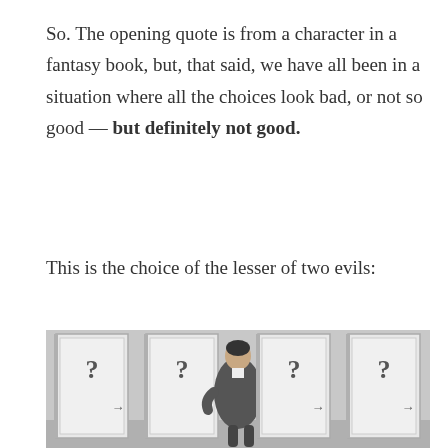So. The opening quote is from a character in a fantasy book, but, that said, we have all been in a situation where all the choices look bad, or not so good — but definitely not good.
This is the choice of the lesser of two evils:
[Figure (photo): Black and white photo of a man in a suit standing with hands on hips, facing four white doors each marked with a question mark and a door handle arrow symbol.]